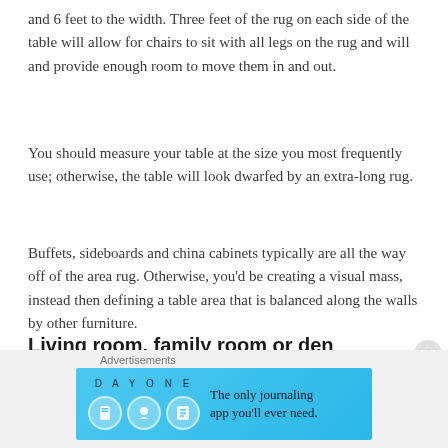and 6 feet to the width. Three feet of the rug on each side of the table will allow for chairs to sit with all legs on the rug and will and provide enough room to move them in and out.
You should measure your table at the size you most frequently use; otherwise, the table will look dwarfed by an extra-long rug.
Buffets, sideboards and china cabinets typically are all the way off of the area rug. Otherwise, you'd be creating a visual mass, instead then defining a table area that is balanced along the walls by other furniture.
Living room, family room or den
A large rug meant to cover a room leave a margin of the
[Figure (screenshot): Advertisement banner for DayOne journaling app with blue background showing app icons and text 'The only journaling app you'll ever need.']